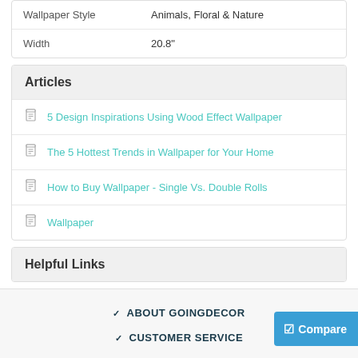| Wallpaper Style | Animals, Floral & Nature |
| Width | 20.8" |
Articles
5 Design Inspirations Using Wood Effect Wallpaper
The 5 Hottest Trends in Wallpaper for Your Home
How to Buy Wallpaper - Single Vs. Double Rolls
Wallpaper
Helpful Links
ABOUT GOINGDECOR
CUSTOMER SERVICE
HELPFUL LINKS